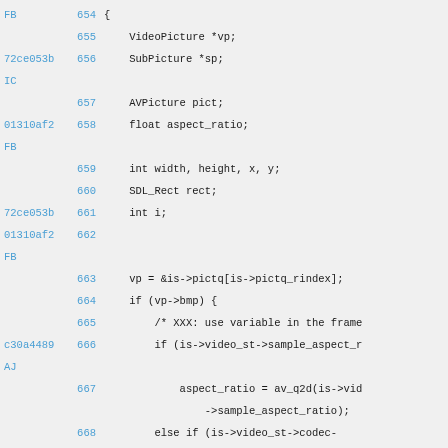Code listing lines 654-668 with git annotations
654: {
655: VideoPicture *vp;
656 (72ce053b IC): SubPicture *sp;
657: AVPicture pict;
658 (01310af2 FB): float aspect_ratio;
659: int width, height, x, y;
660: SDL_Rect rect;
661 (72ce053b): int i;
662 (01310af2 FB): (blank)
663: vp = &is->pictq[is->pictq_rindex];
664: if (vp->bmp) {
665: /* XXX: use variable in the frame
666 (c30a4489 AJ): if (is->video_st->sample_aspect_r
667: aspect_ratio = av_q2d(is->vid->sample_aspect_ratio);
668: else if (is->video_st->codec-